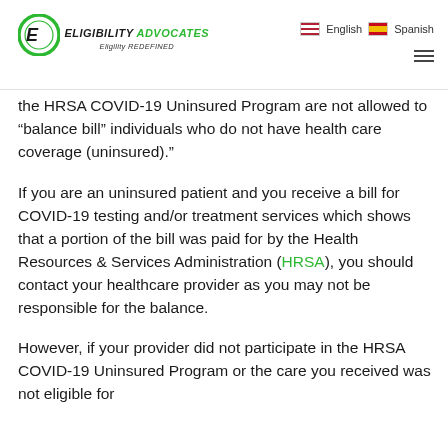Eligibility Advocates — Eligibility REDEFINED | English | Spanish
the HRSA COVID-19 Uninsured Program are not allowed to “balance bill” individuals who do not have health care coverage (uninsured).”
If you are an uninsured patient and you receive a bill for COVID-19 testing and/or treatment services which shows that a portion of the bill was paid for by the Health Resources & Services Administration (HRSA), you should contact your healthcare provider as you may not be responsible for the balance.
However, if your provider did not participate in the HRSA COVID-19 Uninsured Program or the care you received was not eligible for